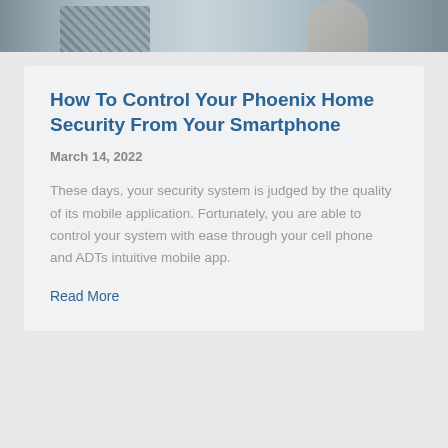[Figure (photo): Partial photo of a person wearing a checkered shirt, cropped at top of page]
How To Control Your Phoenix Home Security From Your Smartphone
March 14, 2022
These days, your security system is judged by the quality of its mobile application. Fortunately, you are able to control your system with ease through your cell phone and ADTs intuitive mobile app.
Read More